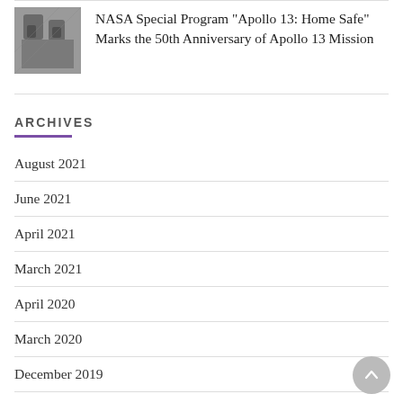[Figure (photo): Black and white photo of astronauts or mission crew members]
NASA Special Program "Apollo 13: Home Safe" Marks the 50th Anniversary of Apollo 13 Mission
ARCHIVES
August 2021
June 2021
April 2021
March 2021
April 2020
March 2020
December 2019